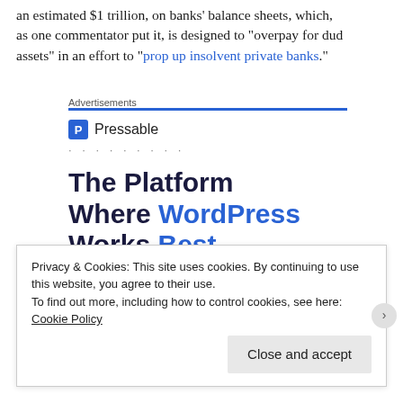an estimated $1 trillion, on banks' balance sheets, which, as one commentator put it, is designed to "overpay for dud assets" in an effort to "prop up insolvent private banks."
Advertisements
[Figure (advertisement): Pressable advertisement: logo with blue P icon, dots separator, headline 'The Platform Where WordPress Works Best', SEE PRICING button]
Privacy & Cookies: This site uses cookies. By continuing to use this website, you agree to their use.
To find out more, including how to control cookies, see here: Cookie Policy
Close and accept